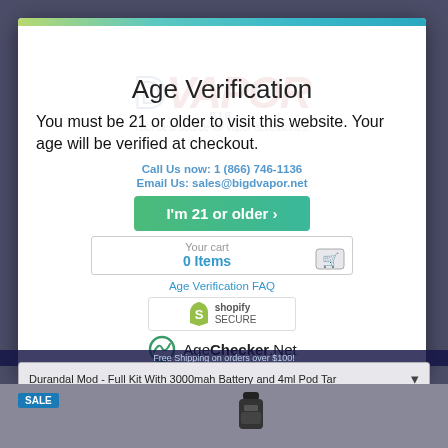[Figure (screenshot): Age verification modal overlay on a vape/vapor accessories website (Big D Vapor). The modal has a gradient top bar, shows 'Age Verification' title, body text about being 21 or older, a green CTA button 'I'm 21 or older >', a cart area showing 0 Items, Age Verification FAQ link, Shopify Secure badge, and AgeChecker.Net logo. Behind the modal is the website with a product dropdown and a SALE product image.]
Age Verification
You must be 21 or older to visit this website. Your age will be verified at checkout.
Call Us now: 1 (866) 746-1136
Email Us: sales@bigdvapor.net
I'm 21 or older ›
Your cart
0 Items
Age Verification FAQ
shopify SECURE
AgeChecker.Net
Free Shipping on orders over $100!
Durandal Mod - Full Kit With 3000mah Battery and 4ml Pod Tar
SALE